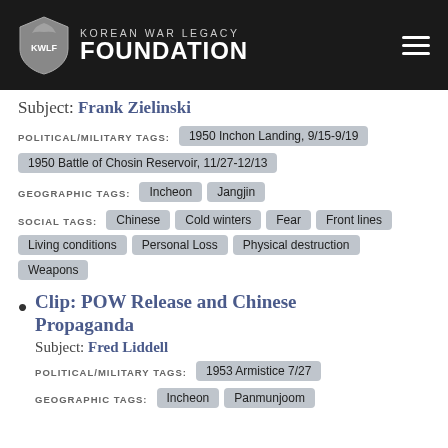Korean War Legacy Foundation
Subject: Frank Zielinski
POLITICAL/MILITARY TAGS: 1950 Inchon Landing, 9/15-9/19   1950 Battle of Chosin Reservoir, 11/27-12/13
GEOGRAPHIC TAGS: Incheon   Jangjin
SOCIAL TAGS: Chinese   Cold winters   Fear   Front lines   Living conditions   Personal Loss   Physical destruction   Weapons
Clip: POW Release and Chinese Propaganda
Subject: Fred Liddell
POLITICAL/MILITARY TAGS: 1953 Armistice 7/27
GEOGRAPHIC TAGS: Incheon   Panmunjoom